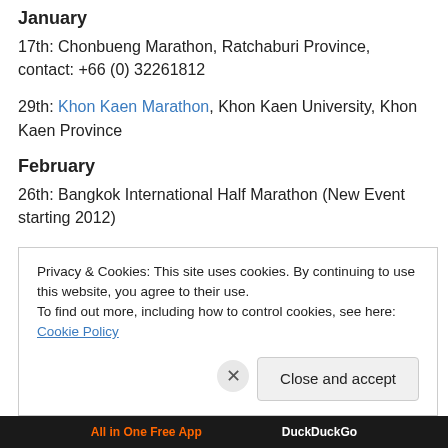January
17th: Chonbueng Marathon, Ratchaburi Province, contact: +66 (0) 32261812
29th: Khon Kaen Marathon, Khon Kaen University, Khon Kaen Province
February
26th: Bangkok International Half Marathon (New Event starting 2012)
Privacy & Cookies: This site uses cookies. By continuing to use this website, you agree to their use. To find out more, including how to control cookies, see here: Cookie Policy